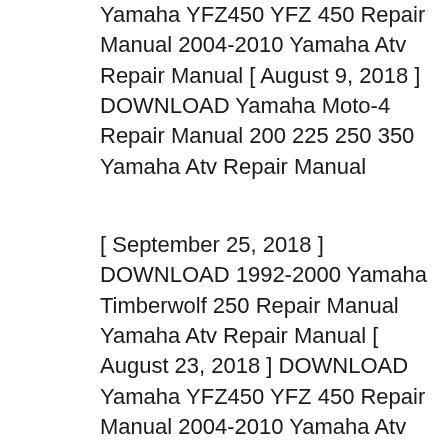Yamaha YFZ450 YFZ 450 Repair Manual 2004-2010 Yamaha Atv Repair Manual [ August 9, 2018 ] DOWNLOAD Yamaha Moto-4 Repair Manual 200 225 250 350 Yamaha Atv Repair Manual
[ September 25, 2018 ] DOWNLOAD 1992-2000 Yamaha Timberwolf 250 Repair Manual Yamaha Atv Repair Manual [ August 23, 2018 ] DOWNLOAD Yamaha YFZ450 YFZ 450 Repair Manual 2004-2010 Yamaha Atv Repair Manual [ August 9, 2018 ] DOWNLOAD Yamaha Moto-4 Repair Manual 200 225 250 350 Yamaha Atv Repair Manual DOWNLOAD Suzuki King Quad 400 450 500 700 750 Repair Manual August 3, 2017 Webmaster 2. Download Suzuki King